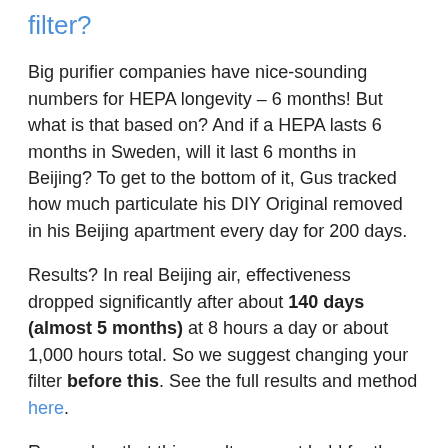filter?
Big purifier companies have nice-sounding numbers for HEPA longevity – 6 months! But what is that based on? And if a HEPA lasts 6 months in Sweden, will it last 6 months in Beijing? To get to the bottom of it, Gus tracked how much particulate his DIY Original removed in his Beijing apartment every day for 200 days.
Results? In real Beijing air, effectiveness dropped significantly after about 140 days (almost 5 months) at 8 hours a day or about 1,000 hours total. So we suggest changing your filter before this. See the full results and method here.
Remember that this result may not hold for the Cannon. So now we're doing a Cannon longevity test!